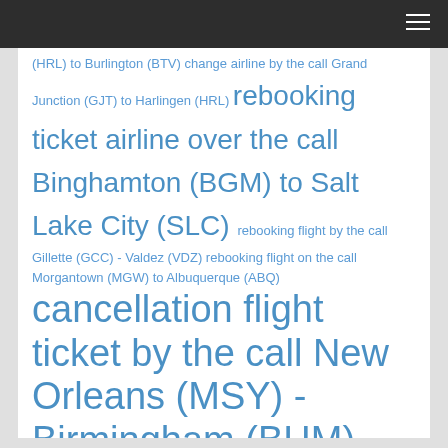Navigation header bar
(HRL) to Burlington (BTV) change airline by the call Grand Junction (GJT) to Harlingen (HRL) rebooking ticket airline over the call Binghamton (BGM) to Salt Lake City (SLC) rebooking flight by the call Gillette (GCC) - Valdez (VDZ) rebooking flight on the call Morgantown (MGW) to Albuquerque (ABQ) cancellation flight ticket by the call New Orleans (MSY) - Birmingham (BHM) change airline over the phone Clarksburg (CKB) to Birmingham (BHM) rebooking ticket by the phone Pocatello (PIH) - Monterey (MRY)